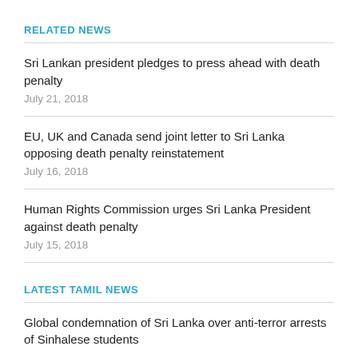RELATED NEWS
Sri Lankan president pledges to press ahead with death penalty
July 21, 2018
EU, UK and Canada send joint letter to Sri Lanka opposing death penalty reinstatement
July 16, 2018
Human Rights Commission urges Sri Lanka President against death penalty
July 15, 2018
LATEST TAMIL NEWS
Global condemnation of Sri Lanka over anti-terror arrests of Sinhalese students